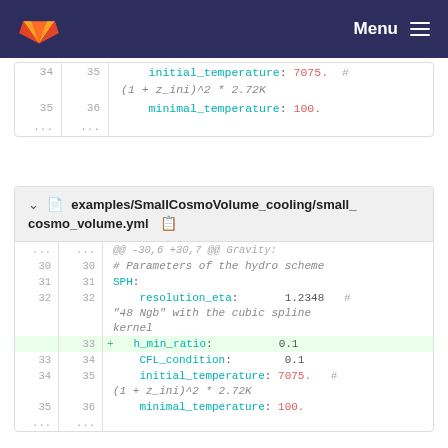Menu
[Figure (screenshot): Code diff showing lines 34-35 and ellipsis, part of a YAML file diff with initial_temperature and minimal_temperature fields]
examples/SmallCosmoVolume_cooling/small_cosmo_volume.yml
[Figure (screenshot): Code diff for examples/SmallCosmoVolume_cooling/small_cosmo_volume.yml showing lines 30-35 with addition of h_min_ratio: 0.1]